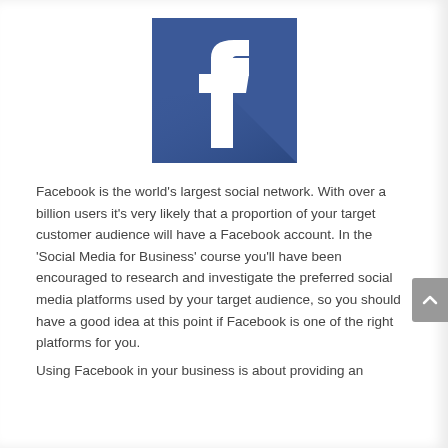[Figure (logo): Facebook logo — blue square with long-shadow effect and white 'f' letterform]
Facebook is the world's largest social network. With over a billion users it's very likely that a proportion of your target customer audience will have a Facebook account. In the 'Social Media for Business' course you'll have been encouraged to research and investigate the preferred social media platforms used by your target audience, so you should have a good idea at this point if Facebook is one of the right platforms for you.
Using Facebook in your business is about providing an